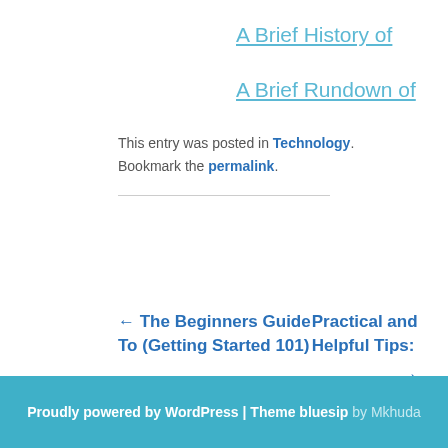A Brief History of
A Brief Rundown of
This entry was posted in Technology. Bookmark the permalink.
← The Beginners Guide To (Getting Started 101)
Practical and Helpful Tips: →
Proudly powered by WordPress | Theme bluesip by Mkhuda